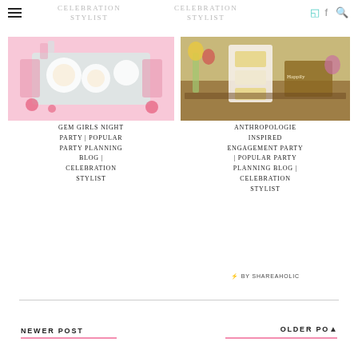CELEBRATION STYLIST (left) | CELEBRATION STYLIST (right)
[Figure (photo): Flat lay of party table with cupcakes, plates, teal runner on pink background]
GEM GIRLS NIGHT PARTY | POPULAR PARTY PLANNING BLOG | CELEBRATION STYLIST
[Figure (photo): Wedding cake with floral decorations and wooden sign reading 'Happily...' on rustic table]
ANTHROPOLOGIE INSPIRED ENGAGEMENT PARTY | POPULAR PARTY PLANNING BLOG | CELEBRATION STYLIST
⚡ BY SHAREAHOLIC
NEWER POST
OLDER POST